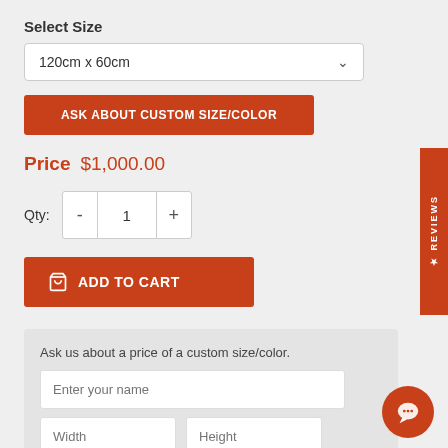Select Size
120cm x 60cm
ASK ABOUT CUSTOM SIZE/COLOR
Price  $1,000.00
Qty: 1
ADD TO CART
Ask us about a price of a custom size/color.
Enter your name
Width
Height
★ REVIEWS